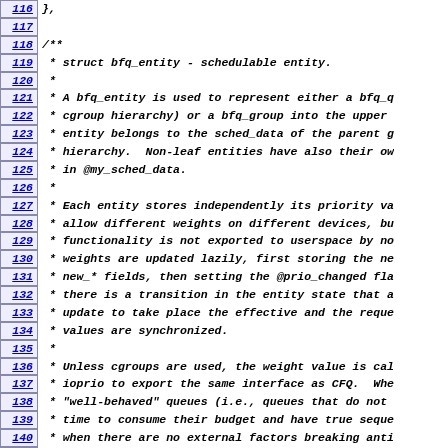Source code listing, lines 116-146, struct bfq_entity definition with documentation comment
116: },
117: (blank)
118: /**
119:  * struct bfq_entity - schedulable entity.
120:  *
121:  * A bfq_entity is used to represent either a bfq_q
122:  * cgroup hierarchy) or a bfq_group into the upper
123:  * entity belongs to the sched_data of the parent g
124:  * hierarchy.  Non-leaf entities have also their ow
125:  * in @my_sched_data.
126:  *
127:  * Each entity stores independently its priority va
128:  * allow different weights on different devices, bu
129:  * functionality is not exported to userspace by no
130:  * weights are updated lazily, first storing the ne
131:  * new_* fields, then setting the @prio_changed fla
132:  * there is a transition in the entity state that a
133:  * update to take place the effective and the reque
134:  * values are synchronized.
135:  *
136:  * Unless cgroups are used, the weight value is cal
137:  * ioprio to export the same interface as CFQ.  Whe
138:  * "well-behaved" queues (i.e., queues that do not
139:  * time to consume their budget and have true seque
140:  * when there are no external factors breaking anti
141:  * relative weights at each level of the cgroups hi
142:  * guaranteed.  All the fields are protected by the
143:  * containing bfqd.
144:  */
145: struct bfq_entity {
146:     /* service_tree_member */